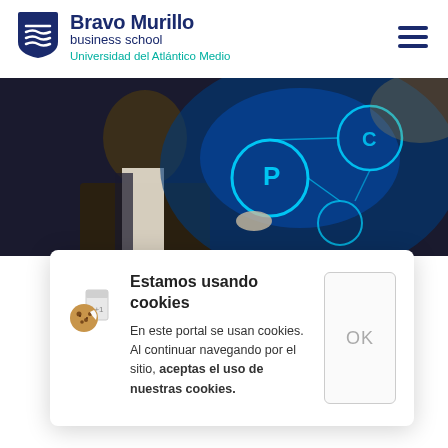[Figure (logo): Bravo Murillo Business School shield logo with blue and teal colors]
Bravo Murillo business school
Universidad del Atlántico Medio
[Figure (photo): Man in suit viewed from behind, looking at glowing blue digital icons and circles on a dark background]
Estamos usando cookies
En este portal se usan cookies. Al continuar navegando por el sitio, aceptas el uso de nuestras cookies.